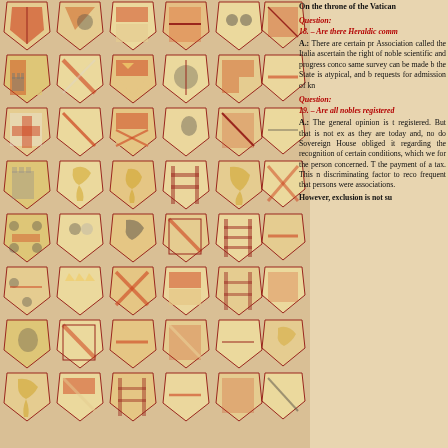[Figure (illustration): Grid of heraldic coat of arms shields in red, yellow, and cream colors forming a decorative background on the left side of the page]
On the throne of the Vatican
Question:
18. – Are there Heraldic comm
A.: There are certain pr Association called the Italia ascertain the right of noble scientific and progress conc same survey can be made b the State is atypical, and b requests for admission of kn
Question:
19. – Are all nobles registered
A.: The general opinion is t registered. But that is not ex as they are today and, no do Sovereign House obliged it regarding the recognition of certain conditions, which we for the person concerned. T the payment of a tax. This n discriminating factor to reco frequent that persons were associations.
However, exclusion is not su